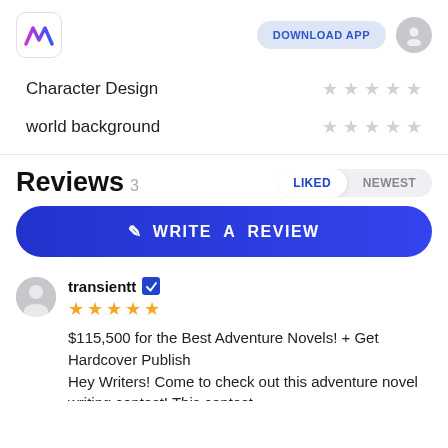[Figure (logo): App logo with stylized W letter in blue/pink gradient]
DOWNLOAD APP
Character Design ★ ★ ★ ★ ★
world background ★ ★ ★ ★ ★
Reviews 3
LIKED  NEWEST
✎ WRITE A REVIEW
transientt
★ ★ ★ ★ ★
$115,500 for the Best Adventure Novels! + Get Hardcover Publish
Hey Writers! Come to check out this adventure novel writing contest! This contest